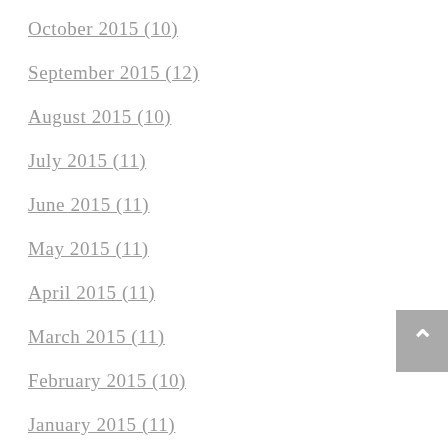October 2015 (10)
September 2015 (12)
August 2015 (10)
July 2015 (11)
June 2015 (11)
May 2015 (11)
April 2015 (11)
March 2015 (11)
February 2015 (10)
January 2015 (11)
December 2014 (11)
November 2014 (10)